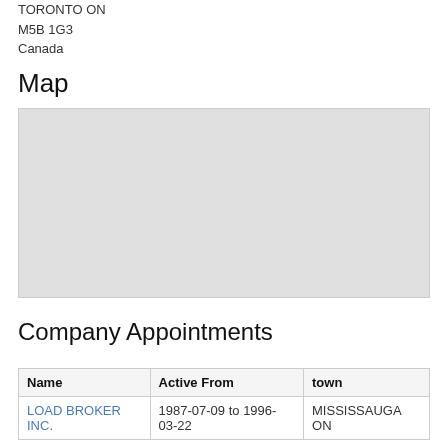TORONTO ON
M5B 1G3
Canada
Map
[Figure (map): A blank light gray map placeholder area]
Company Appointments
| Name | Active From | town |
| --- | --- | --- |
| LOAD BROKER INC. | 1987-07-09 to 1996-03-22 | MISSISSAUGA ON |